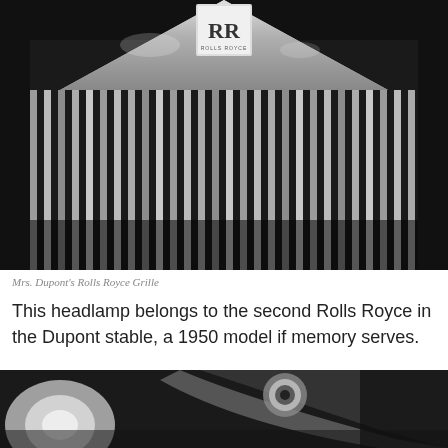[Figure (photo): Close-up black and white photograph of a Rolls Royce grille with vertical chrome slats and the Rolls Royce RR logo at the top center.]
Mrs. Dupont's Rolls Royce Grille
This headlamp belongs to the second Rolls Royce in the Dupont stable, a 1950 model if memory serves.
[Figure (photo): Black and white close-up photograph of what appears to be a Rolls Royce headlamp and hood detail.]